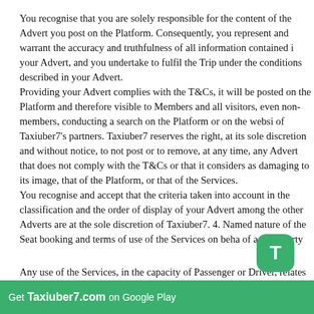You recognise that you are solely responsible for the content of the Advert you post on the Platform. Consequently, you represent and warrant the accuracy and truthfulness of all information contained in your Advert, and you undertake to fulfil the Trip under the conditions described in your Advert.
Providing your Advert complies with the T&Cs, it will be posted on the Platform and therefore visible to Members and all visitors, even non-members, conducting a search on the Platform or on the website of Taxiuber7's partners. Taxiuber7 reserves the right, at its sole discretion and without notice, to not post or to remove, at any time, any Advert that does not comply with the T&Cs or that it considers as damaging to its image, that of the Platform, or that of the Services.
You recognise and accept that the criteria taken into account in the classification and the order of display of your Advert among the other Adverts are at the sole discretion of Taxiuber7. 4. Named nature of the Seat booking and terms of use of the Services on behalf of a third party
Any use of the Services, in the capacity of Passenger or Driver, relates to a specific name. The Driver and the Passenger must correspond to the identity communicated to Taxiuber7 and the other Members participating in the Trip.
Get Taxiuber7.com on Google Play